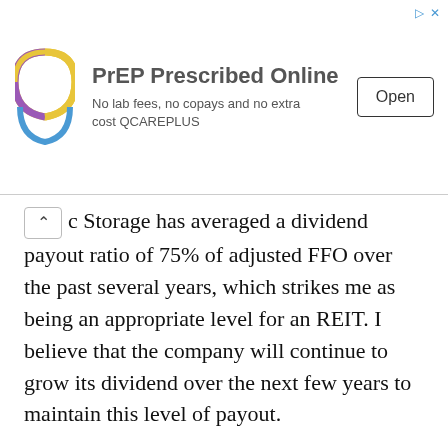[Figure (other): Advertisement banner: PrEP Prescribed Online. No lab fees, no copays and no extra cost QCAREPLUS. Open button. Logo with colorful Q shape on left.]
c Storage has averaged a dividend payout ratio of 75% of adjusted FFO over the past several years, which strikes me as being an appropriate level for an REIT. I believe that the company will continue to grow its dividend over the next few years to maintain this level of payout.
Take advantage of the recent drop in its stock price and buy Public Storage in the $310 to $340 price range.
— Tony Daltorio
Buy and Hold These 3 Dividend Stocks Forever
[sponsor]
What's the one thing you need to stay retired? That's right,